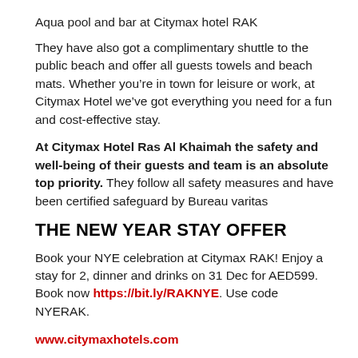Aqua pool and bar at Citymax hotel RAK
They have also got a complimentary shuttle to the public beach and offer all guests towels and beach mats. Whether you’re in town for leisure or work, at Citymax Hotel we’ve got everything you need for a fun and cost-effective stay.
At Citymax Hotel Ras Al Khaimah the safety and well-being of their guests and team is an absolute top priority. They follow all safety measures and have been certified safeguard by Bureau varitas
THE NEW YEAR STAY OFFER
Book your NYE celebration at Citymax RAK! Enjoy a stay for 2, dinner and drinks on 31 Dec for AED599. Book now https://bit.ly/RAKNYE. Use code NYERAK.
www.citymaxhotels.com